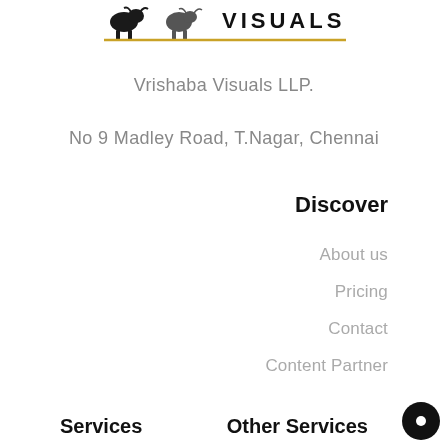[Figure (logo): Vrishaba Visuals LLP logo with bull/animal silhouette icons and golden underline, with text VISUALS in bold uppercase]
Vrishaba Visuals LLP.
No 9 Madley Road, T.Nagar, Chennai
Discover
About us
Pricing
Contact
Content Partner
Services
Other Services